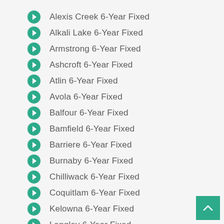Alexis Creek  6-Year  Fixed
Alkali Lake  6-Year  Fixed
Armstrong  6-Year  Fixed
Ashcroft  6-Year  Fixed
Atlin  6-Year  Fixed
Avola  6-Year  Fixed
Balfour  6-Year  Fixed
Bamfield  6-Year  Fixed
Barriere  6-Year  Fixed
Burnaby  6-Year  Fixed
Chilliwack  6-Year  Fixed
Coquitlam  6-Year  Fixed
Kelowna  6-Year  Fixed
Langley  6-Year  Fixed